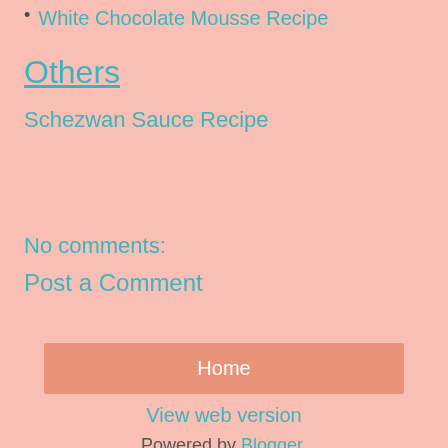White Chocolate Mousse Recipe
Others
Schezwan Sauce Recipe
No comments:
Post a Comment
Home
View web version
Powered by Blogger.